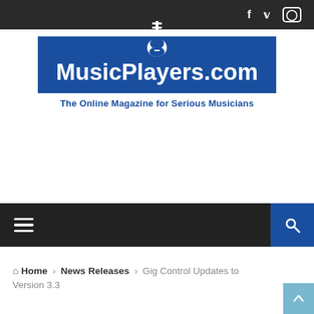Social icons: Facebook, Twitter, Instagram
[Figure (logo): MusicPlayers.com logo — blue rectangle with white text 'MusicPlayers.com' and a guitar silhouette above, with tagline 'The Online Magazine for Serious Musicians']
Navigation bar with hamburger menu and search button
Home › News Releases › Gig Control Updates to Version 3.3